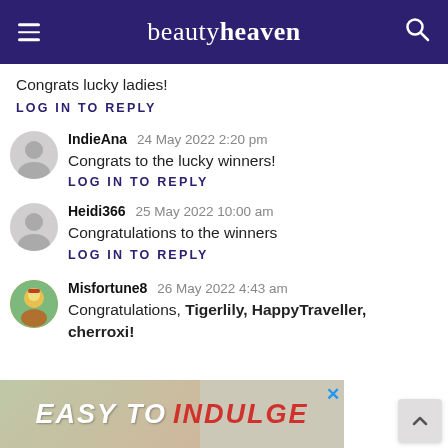beautyheaven
Congrats lucky ladies!
LOG IN TO REPLY
IndieAna  24 May 2022 2:20 pm
Congrats to the lucky winners!
LOG IN TO REPLY
Heidi366  25 May 2022 10:00 am
Congratulations to the winners
LOG IN TO REPLY
Misfortune8  26 May 2022 4:43 am
Congratulations, Tigerlily, HappyTraveller, cherroxi!
[Figure (screenshot): Advertisement banner with text EASY TO INDULGE]